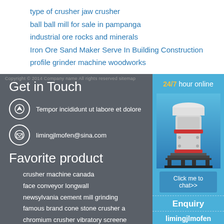type of crusher jaw crusher
ball ball mill for sale in pampanga
industrial ore rocks and minerals
Iron Ore Sand Maker Serve In Building Construction
profile grinder machine woodworks
Copyright © 2014 Company name All rights reserved sitemap
Get in Touch
Tempor incididunt ut labore et dolore
limingjlmofen@sina.com
Favorite product
crusher machine canada
face conveyor longwall
newsylvania cement mill grinding
famous brand cone stone crusher a
chromium crusher vibratory screene
[Figure (illustration): Industrial cone crusher machine with white and red body on a dark stand, shown in a blue advertisement panel with 24/7 hour online service, Click me to chat>> button, Enquiry section, and limingjlmofen branding]